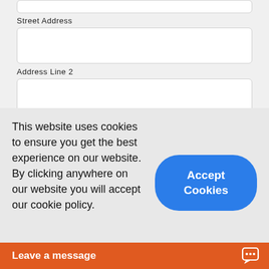Street Address
[Figure (screenshot): Empty text input field for Street Address]
Address Line 2
[Figure (screenshot): Empty text input field for Address Line 2]
City
[Figure (screenshot): Empty text input field for City]
State / Province / Region
This website uses cookies to ensure you get the best experience on our website. By clicking anywhere on our website you will accept our cookie policy.
Accept Cookies
Leave a message